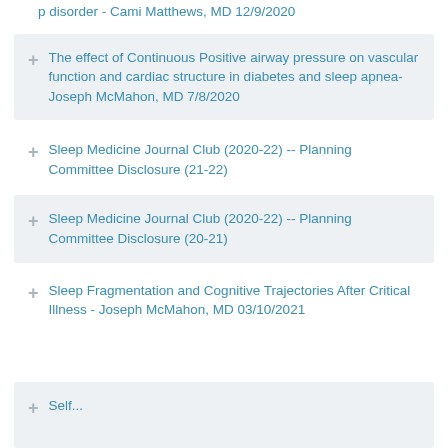p disorder - Cami Matthews, MD 12/9/2020
The effect of Continuous Positive airway pressure on vascular function and cardiac structure in diabetes and sleep apnea- Joseph McMahon, MD 7/8/2020
Sleep Medicine Journal Club (2020-22) -- Planning Committee Disclosure (21-22)
Sleep Medicine Journal Club (2020-22) -- Planning Committee Disclosure (20-21)
Sleep Fragmentation and Cognitive Trajectories After Critical Illness - Joseph McMahon, MD 03/10/2021
Self...